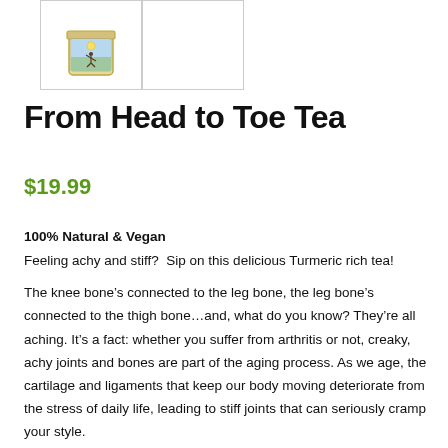[Figure (photo): Product image of From Head to Toe Tea in a jar with a yoga figure label, shown in a bordered thumbnail box. Second thumbnail box is empty.]
From Head to Toe Tea
$19.99
100% Natural & Vegan
Feeling achy and stiff?  Sip on this delicious Turmeric rich tea!
The knee bone’s connected to the leg bone, the leg bone’s connected to the thigh bone…and, what do you know? They’re all aching. It’s a fact: whether you suffer from arthritis or not, creaky, achy joints and bones are part of the aging process. As we age, the cartilage and ligaments that keep our body moving deteriorate from the stress of daily life, leading to stiff joints that can seriously cramp your style.